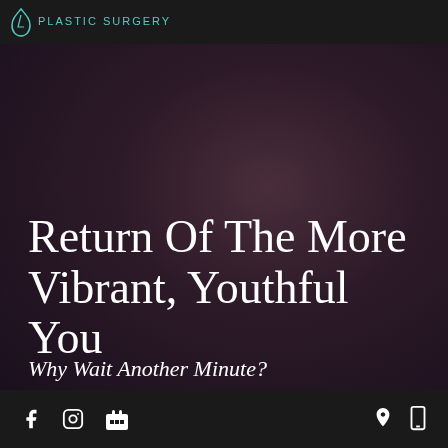Plastic Surgery
Return Of The More Vibrant, Youthful You
Why Wait Another Minute?
VIEW SERVICES
Facebook | Instagram | Google | Location | Mobile